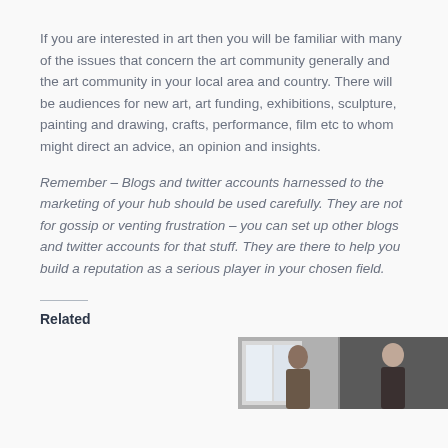If you are interested in art then you will be familiar with many of the issues that concern the art community generally and the art community in your local area and country. There will be audiences for new art, art funding, exhibitions, sculpture, painting and drawing, crafts, performance, film etc to whom might direct an advice, an opinion and insights.
Remember – Blogs and twitter accounts harnessed to the marketing of your hub should be used carefully. They are not for gossip or venting frustration – you can set up other blogs and twitter accounts for that stuff. They are there to help you build a reputation as a serious player in your chosen field.
Related
[Figure (photo): Partial photo showing two people, partially cropped at bottom of page]